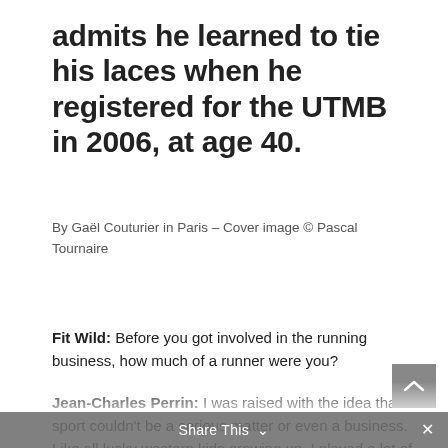admits he learned to tie his laces when he registered for the UTMB in 2006, at age 40.
By Gaël Couturier in Paris – Cover image © Pascal Tournaire
Fit Wild: Before you got involved in the running business, how much of a runner were you?
Jean-Charles Perrin: I was raised with the idea that sport couldn't be a serious matter or even a business. Like all lucky western kids growing up, I played a lot of sports, from field hockey to basketball to volleyball to soccer. Being a Frenchman, I played a lot of soccer. Because I had so much energy, my parents sent me to play outside as